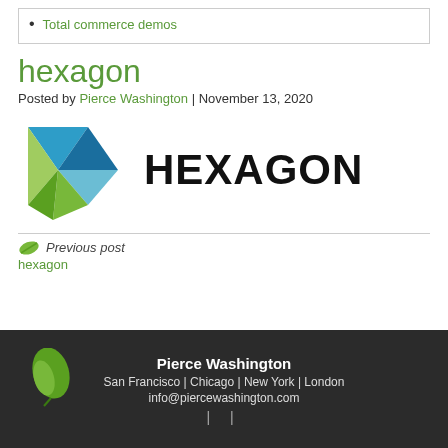Total commerce demos
hexagon
Posted by Pierce Washington | November 13, 2020
[Figure (logo): Hexagon company logo: geometric diamond shape in blue and green tones on the left, with bold 'HEXAGON' wordmark text on the right]
Previous post
hexagon
Pierce Washington
San Francisco | Chicago | New York | London
info@piercewashington.com